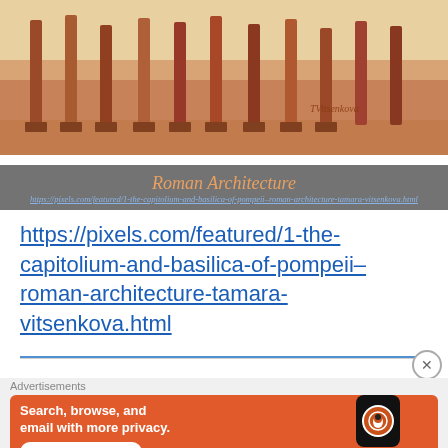[Figure (illustration): Watercolor painting of Roman architecture (Capitolium and Basilica of Pompeii) showing columns and arches in warm earth tones, signed 'TVitsenkoua'. Overlaid with title 'Roman Architecture' and a URL link on a dark semi-transparent bar.]
https://pixels.com/featured/1-the-capitolium-and-basilica-of-pompeii–roman-architecture-tamara-vitsenkova.html
https://pixels.com/featured/1-the-capitolium-and-basilica-of-pompeii–roman-architecture-tamara-vitsenkova.html
Advertisements
[Figure (screenshot): Advertisement banner for DuckDuckGo with orange background. Text: 'Search, browse, and email with more privacy. All in One Free App'. Shows a phone with DuckDuckGo logo.]